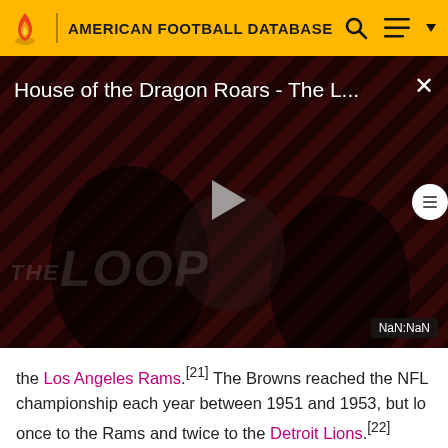AMERICAN FOOTBALL DATABASE
[Figure (screenshot): Video player showing 'House of the Dragon Roars - The L...' with a play button overlay, dark background with diagonal stripe pattern, 'THE LOOP' text watermark, and NaN:NaN timestamp badge]
the Los Angeles Rams.[21] The Browns reached the NFL championship each year between 1951 and 1953, but lost once to the Rams and twice to the Detroit Lions.[22]
Baltimore Colts